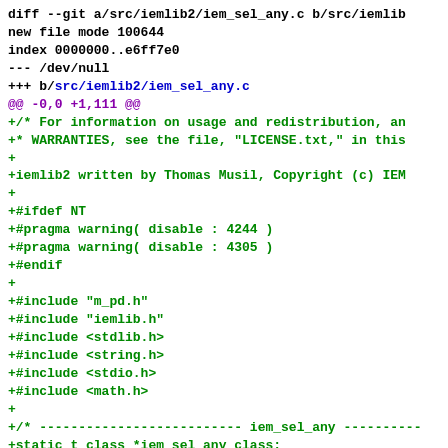diff --git a/src/iemlib2/iem_sel_any.c b/src/iemlib2/iem_sel_any.c
new file mode 100644
index 0000000..e6ff7e0
--- /dev/null
+++ b/src/iemlib2/iem_sel_any.c
@@ -0,0 +1,111 @@
+/* For information on usage and redistribution, an
+* WARRANTIES, see the file, "LICENSE.txt," in this
+
+iemlib2 written by Thomas Musil, Copyright (c) IEM
+
+#ifdef NT
+#pragma warning( disable : 4244 )
+#pragma warning( disable : 4305 )
+#endif
+
+#include "m_pd.h"
+#include "iemlib.h"
+#include <stdlib.h>
+#include <string.h>
+#include <stdio.h>
+#include <math.h>
+
+/* -------------------------- iem_sel_any ----------
+static t_class *iem_sel_any_class;
+
+typedef struct _iem_sel_any
+{
+        t_object        x_obj;
+        int                              x_ac;